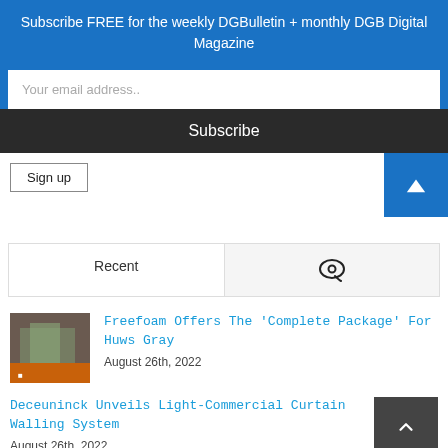Subscribe FREE for the weekly DGBulletin + monthly DGB Digital Magazine
Your email address..
Subscribe
Sign up
Recent
[Figure (photo): Thumbnail image for Freefoam article]
Freefoam Offers The 'Complete Package' For Huws Gray
August 26th, 2022
Deceuninck Unveils Light-Commercial Curtain Walling System
August 26th, 2022